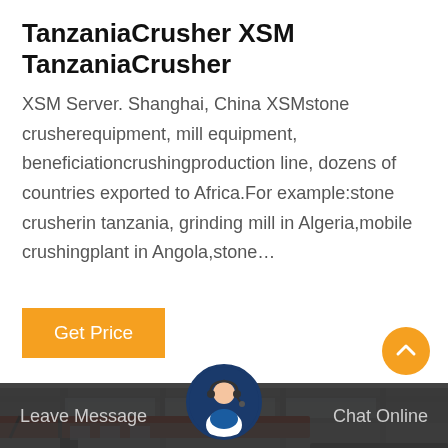TanzaniaCrusher XSM TanzaniaCrusher
XSM Server. Shanghai, China XSMstone crusherequipment, mill equipment, beneficiationcrushingproduction line, dozens of countries exported to Africa.For example:stone crusherin tanzania, grinding mill in Algeria,mobile crushingplant in Angola,stone…
Get Price
[Figure (photo): Industrial factory interior showing heavy machinery, a red overhead crane beam, and large industrial equipment in a warehouse setting.]
Leave Message
Chat Online